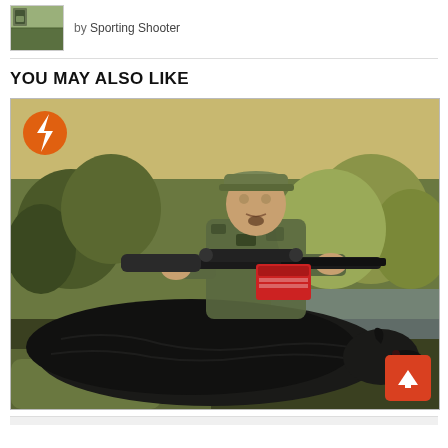[Figure (photo): Thumbnail photo of a gate/field scene, shown as small image at top left]
by Sporting Shooter
[Figure (photo): Main photo of a hunter in camouflage clothing and cap, posing with a bolt-action rifle with scope, holding a magazine/card, kneeling behind a large harvested black wild boar/pig. Trees and brush visible in background. Orange lightning bolt badge overlay at top left. Red scroll-to-top arrow button at bottom right.]